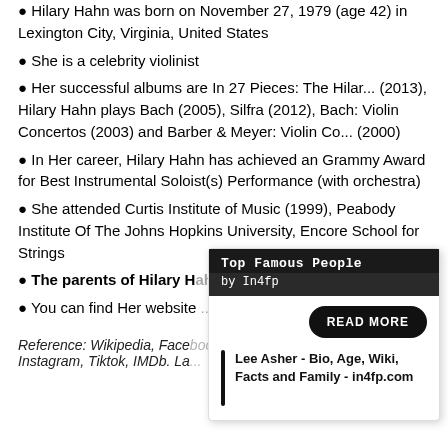Hilary Hahn was born on November 27, 1979 (age 42) in Lexington City, Virginia, United States
She is a celebrity violinist
Her successful albums are In 27 Pieces: The Hilar... (2013), Hilary Hahn plays Bach (2005), Silfra (2012), Bach: Violin Concertos (2003) and Barber & Meyer: Violin Co... (2000)
In Her career, Hilary Hahn has achieved an Grammy Award for Best Instrumental Soloist(s) Performance (with orchestra)
She attended Curtis Institute of Music (1999), Peabody Institute Of The Johns Hopkins University, Encore School for Strings
The parents of Hilary Hahn are Steve Hahn, Anne Hahn
You can find Her website
Reference: Wikipedia, Facebook, Instagram, Tiktok, IMDb. La...
[Figure (infographic): Top Famous People by In4fp overlay card with READ MORE button and Lee Asher article link]